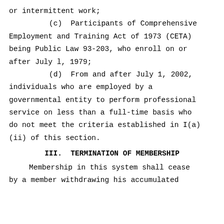or intermittent work;
(c)  Participants of Comprehensive Employment and Training Act of 1973 (CETA) being Public Law 93-203, who enroll on or after July 1, 1979;
(d)  From and after July 1, 2002, individuals who are employed by a governmental entity to perform professional service on less than a full-time basis who do not meet the criteria established in I(a)(ii) of this section.
III.  TERMINATION OF MEMBERSHIP
Membership in this system shall cease by a member withdrawing his accumulated